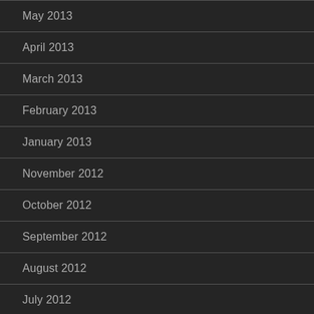May 2013
April 2013
March 2013
February 2013
January 2013
November 2012
October 2012
September 2012
August 2012
July 2012
June 2012